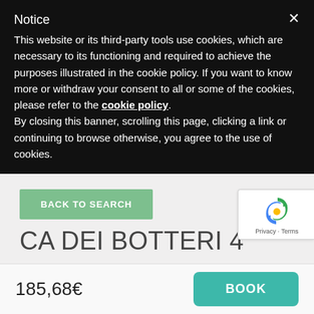Notice
This website or its third-party tools use cookies, which are necessary to its functioning and required to achieve the purposes illustrated in the cookie policy. If you want to know more or withdraw your consent to all or some of the cookies, please refer to the cookie policy. By closing this banner, scrolling this page, clicking a link or continuing to browse otherwise, you agree to the use of cookies.
BACK TO SEARCH
CA DEI BOTTERI 4
185,68€
BOOK